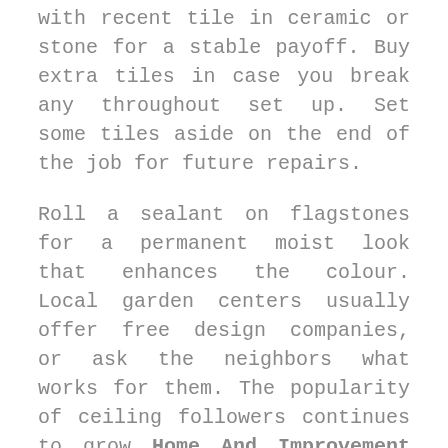with recent tile in ceramic or stone for a stable payoff. Buy extra tiles in case you break any throughout set up. Set some tiles aside on the end of the job for future repairs.
Roll a sealant on flagstones for a permanent moist look that enhances the colour. Local garden centers usually offer free design companies, or ask the neighbors what works for them. The popularity of ceiling followers continues to grow Home And Improvement as increasingly householders uncover dramatic, year-round vitality financial savings. In summer time, ceiling fans create cooling breezes, which reduce the strain on air conditioners.